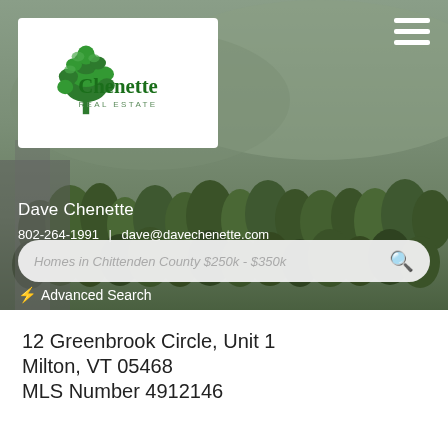[Figure (photo): Chenette Real Estate website screenshot showing a hero section with a wooded/mountain landscape background. Contains the Chenette Real Estate logo (tree icon with company name), a hamburger menu icon, agent name Dave Chenette, contact info 802-264-1991 and dave@davechenette.com, a search bar with placeholder text 'Homes in Chittenden County $250k - $350k', and an Advanced Search link.]
Dave Chenette
802-264-1991 | dave@davechenette.com
Homes in Chittenden County $250k - $350k
Advanced Search
12 Greenbrook Circle, Unit 1
Milton, VT 05468
MLS Number 4912146